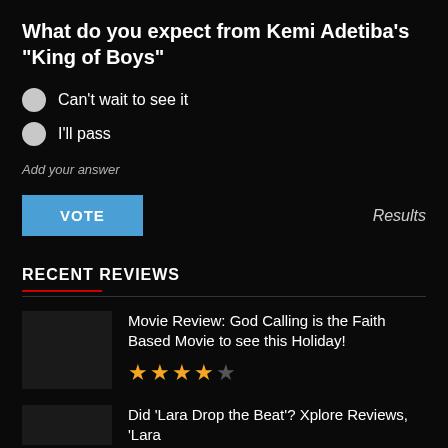What do you expect from Kemi Adetiba's "King of Boys"
Can't wait to see it
I'll pass
Add your answer
VOTE
Results
RECENT REVIEWS
Movie Review: God Calling is the Faith Based Movie to see this Holiday!
★★★★☆
Did 'Lara Drop the Beat'? Xplore Reviews, 'Lara